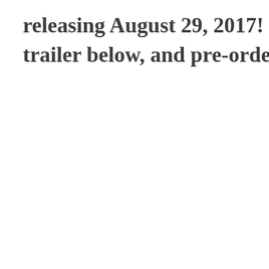releasing August 29, 2017! Don't miss trailer below, and pre-order your